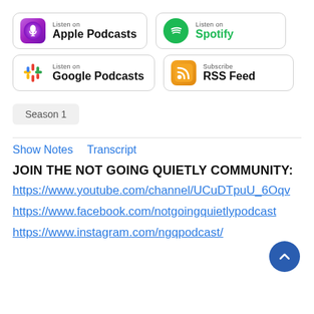[Figure (other): Apple Podcasts listen badge button]
[Figure (other): Spotify listen badge button]
[Figure (other): Google Podcasts listen badge button]
[Figure (other): RSS Feed subscribe badge button]
Season 1
Show Notes   Transcript
JOIN THE NOT GOING QUIETLY COMMUNITY:
https://www.youtube.com/channel/UCuDTpuU_6Oqv
https://www.facebook.com/notgoingquietlypodcast
https://www.instagram.com/ngqpodcast/